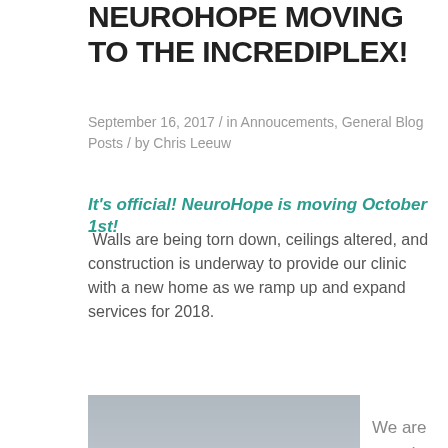NEUROHOPE MOVING TO THE INCREDIPLEX!
September 16, 2017 / in Annoucements, General Blog Posts / by Chris Leeuw
It's official! NeuroHope is moving October 1st!
Walls are being torn down, ceilings altered, and construction is underway to provide our clinic with a new home as we ramp up and expand services for 2018.
[Figure (photo): Exterior photo of a single-story commercial building with a teal/blue metal roof, concrete walls, manicured shrubs in front, and a parking lot in the foreground under an overcast sky.]
We are proud to partner with the